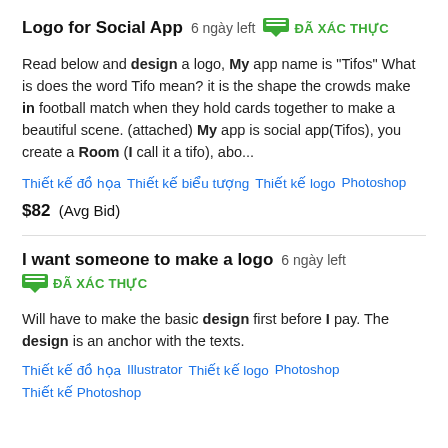Logo for Social App  6 ngày left  ĐÃ XÁC THỰC
Read below and design a logo, My app name is "Tifos" What is does the word Tifo mean? it is the shape the crowds make in football match when they hold cards together to make a beautiful scene. (attached) My app is social app(Tifos), you create a Room (I call it a tifo), abo...
Thiết kế đồ họa   Thiết kế biểu tượng   Thiết kế logo   Photoshop
$82  (Avg Bid)
I want someone to make a logo  6 ngày left  ĐÃ XÁC THỰC
Will have to make the basic design first before I pay. The design is an anchor with the texts.
Thiết kế đồ họa   Illustrator   Thiết kế logo   Photoshop   Thiết kế Photoshop